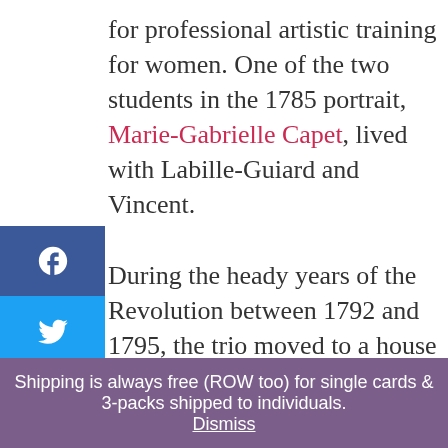for professional artistic training for women. One of the two students in the 1785 portrait, Marie-Gabrielle Capet, lived with Labille-Guiard and Vincent. During the heady years of the Revolution between 1792 and 1795, the trio moved to a house in Pontault-en-Brie, a town just outside of Paris. Vincent and Labille-Guiard married in 1800 (she was finally allowed to divorce her estranged husband when divorce became legal under the new Revolutionary
Shipping is always free (ROW too) for single cards & 3-packs shipped to individuals. Dismiss